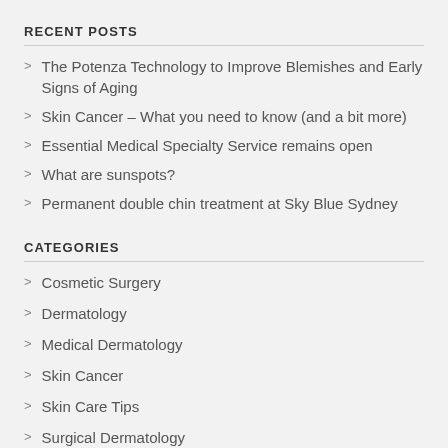RECENT POSTS
The Potenza Technology to Improve Blemishes and Early Signs of Aging
Skin Cancer – What you need to know (and a bit more)
Essential Medical Specialty Service remains open
What are sunspots?
Permanent double chin treatment at Sky Blue Sydney
CATEGORIES
Cosmetic Surgery
Dermatology
Medical Dermatology
Skin Cancer
Skin Care Tips
Surgical Dermatology